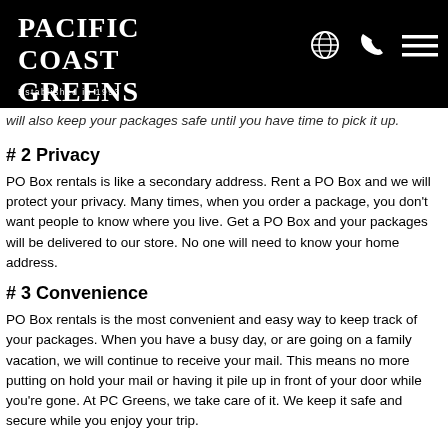PACIFIC COAST GREENS
Established in 1993
will also keep your packages safe until you have time to pick it up.
# 2 Privacy
PO Box rentals is like a secondary address. Rent a PO Box and we will protect your privacy. Many times, when you order a package, you don't want people to know where you live. Get a PO Box and your packages will be delivered to our store. No one will need to know your home address.
# 3 Convenience
PO Box rentals is the most convenient and easy way to keep track of your packages. When you have a busy day, or are going on a family vacation, we will continue to receive your mail. This means no more putting on hold your mail or having it pile up in front of your door while you're gone. At PC Greens, we take care of it. We keep it safe and secure while you enjoy your trip.